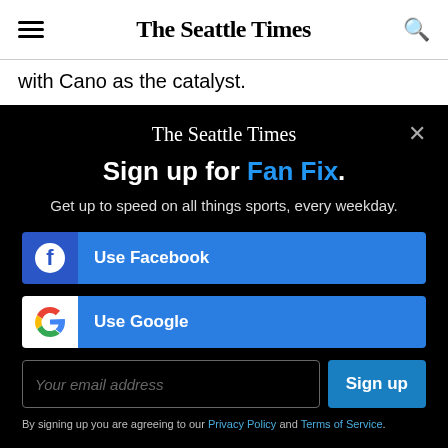The Seattle Times
with Cano as the catalyst.
The Seattle Times
Sign up for Fan Fix.
Get up to speed on all things sports, every weekday.
Use Facebook
Use Google
Your email address
Sign up
By signing up you are agreeing to our Privacy Policy and Terms of Service.